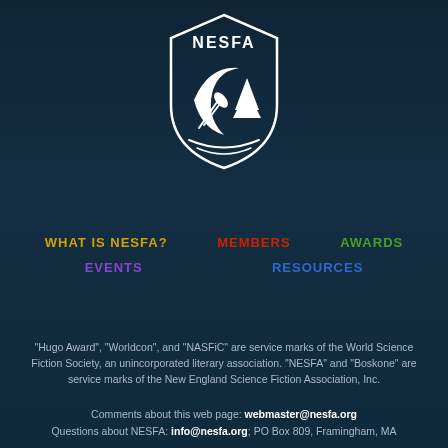[Figure (logo): NESFA shield logo with crescent moon, rocket, and pine tree in white on dark background]
WHAT IS NESFA?
MEMBERS
AWARDS
EVENTS
RESOURCES
"Hugo Award", "Worldcon", and "NASFiC" are service marks of the World Science Fiction Society, an unincorporated literary association. "NESFA" and "Boskone" are service marks of the New England Science Fiction Association, Inc.
Comments about this web page: webmaster@nesfa.org
Questions about NESFA: info@nesfa.org; PO Box 809, Framingham, MA 01701-0809; 617-625-2311